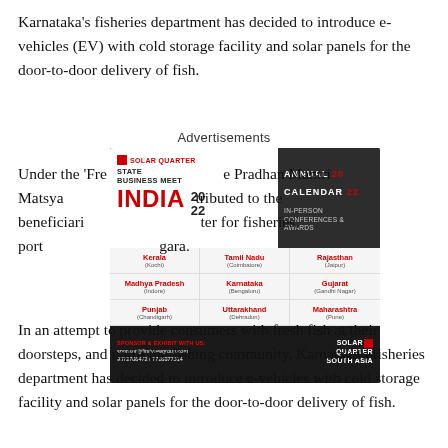Karnataka's fisheries department has decided to introduce e-vehicles (EV) with cold storage facility and solar panels for the door-to-door delivery of fish.
Advertisements
[Figure (infographic): Solar Quarter State Business Meet India 2022 advertisement with Annual Calendar 2022, In-Person Conferences & Awards listing Kerala (Kochi), Tamil Nadu (Coimbatore), Rajasthan (Jaipur), Madhya Pradesh (Indore), Karnataka (Bengaluru), Gujarat (Gandhi Nagar), Punjab (Chandigarh), Uttarakhand (Dehradun), Maharashtra (Pune). Sponsor contact: sponsor@firstviewgroup.com, 9372788472/7718877514. Solar Quarter South Asia.]
Under the 'Fre… e Pradhan Mantri Matsya… tributed to the beneficiari… ter for fisheries, port… gara.
In an attempt to provide consumers with fresh fish at their doorsteps, and uplift the fishing community, Karnataka's fisheries department has decided to introduce e-vehicles with cold storage facility and solar panels for the door-to-door delivery of fish.